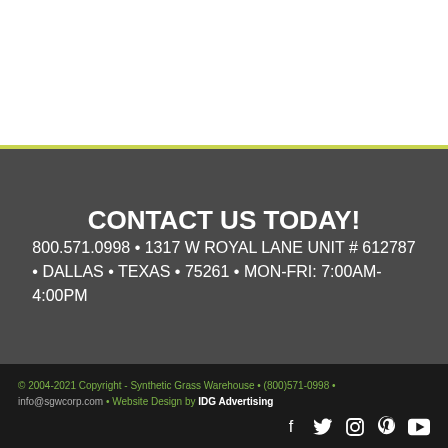CONTACT US TODAY!
800.571.0998 • 1317 W ROYAL LANE UNIT # 612787 • DALLAS • TEXAS • 75261 • MON-FRI: 7:00AM-4:00PM
© 2004-2021 Copyright - Synthetic Grass Warehouse • (800)571-0998 • info@sgwcorp.com • Website Design by IDG Advertising